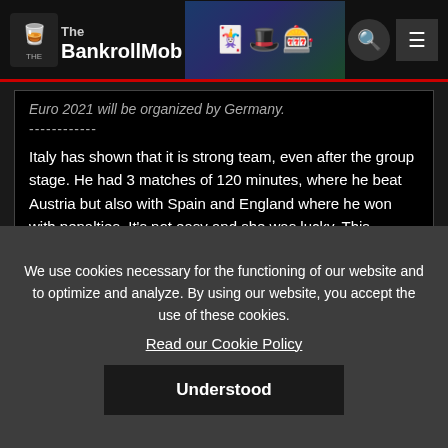The BankrollMob
Euro 2021 will be organized by Germany.
Italy has shown that it is strong team, even after the group stage. He had 3 matches of 120 minutes, where he beat Austria but also with Spain and England where he won with penalties. It's not easy and she was lucky. This national team it can have an even more beautiful future.
Write a comment:
You must be logged in, to comment on news...
We use cookies necessary for the functioning of our website and to optimize and analyze. By using our website, you accept the use of these cookies.
Read our Cookie Policy
Understood